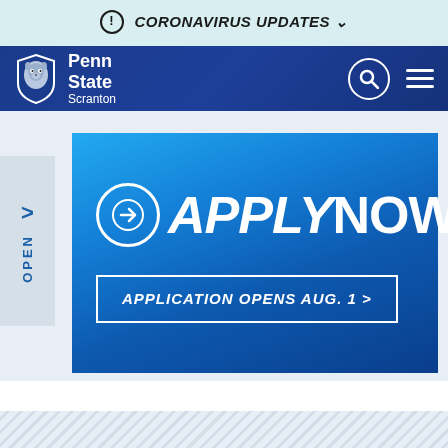CORONAVIRUS UPDATES
[Figure (screenshot): Penn State Scranton university website header with navigation bar showing logo with lion shield, PennState Scranton text, search icon, and hamburger menu]
[Figure (infographic): Apply Now banner with circular arrow icon, APPLY NOW text, and APPLICATION OPENS AUG. 1 button on blue gradient background]
VISIT US //